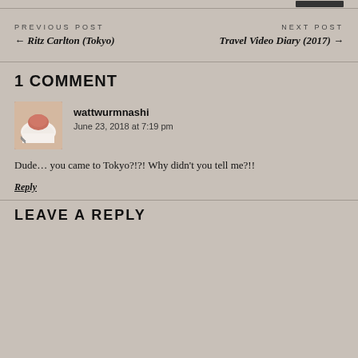PREVIOUS POST
← Ritz Carlton (Tokyo)
NEXT POST
Travel Video Diary (2017) →
1 COMMENT
wattwurmnashi
June 23, 2018 at 7:19 pm
Dude… you came to Tokyo?!?! Why didn't you tell me?!!
Reply
LEAVE A REPLY